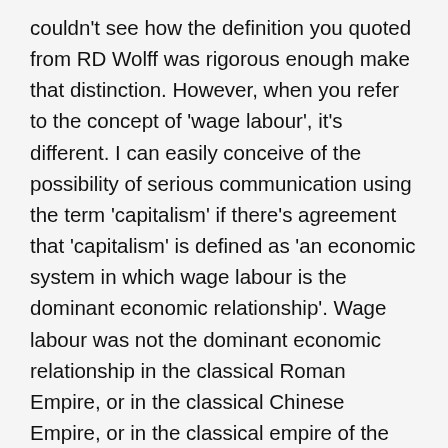couldn't see how the definition you quoted from RD Wolff was rigorous enough make that distinction. However, when you refer to the concept of 'wage labour', it's different. I can easily conceive of the possibility of serious communication using the term 'capitalism' if there's agreement that 'capitalism' is defined as 'an economic system in which wage labour is the dominant economic relationship'. Wage labour was not the dominant economic relationship in the classical Roman Empire, or in the classical Chinese Empire, or in the classical empire of the Incas; but it is the dominant economic relationship in the contemporary USA, and in contemporary Australia, and in many modern countries, perhaps most. I do see the potential usefulness of having a single term to refer to the concept of an economic system in which wage labour is the dominant economic relationship, provided there's agreement